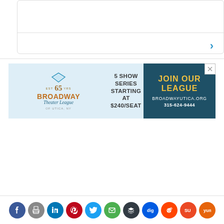[Figure (other): Content card box with a horizontal divider and a blue right-arrow chevron in the lower portion]
[Figure (other): Broadway Theater League advertisement banner: '65th anniversary, 5 Show Series Starting at $240/Seat, JOIN OUR LEAGUE, BroadwayUtica.org, 315-624-9444' with close button]
[Figure (other): Row of 11 social sharing icon buttons: Facebook, Print, LinkedIn, Pinterest, Twitter, Email, Buffer, Digg, Reddit, StumbleUpon, Yummly]